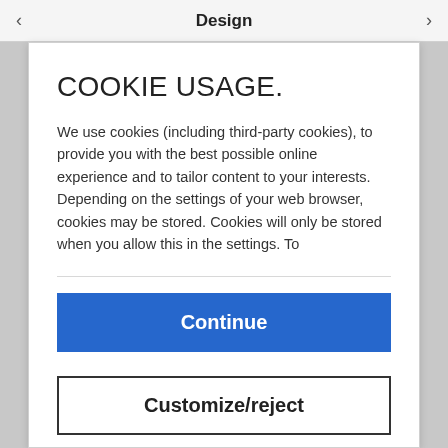Design
COOKIE USAGE.
We use cookies (including third-party cookies), to provide you with the best possible online experience and to tailor content to your interests.
Depending on the settings of your web browser, cookies may be stored. Cookies will only be stored when you allow this in the settings. To
Continue
Customize/reject